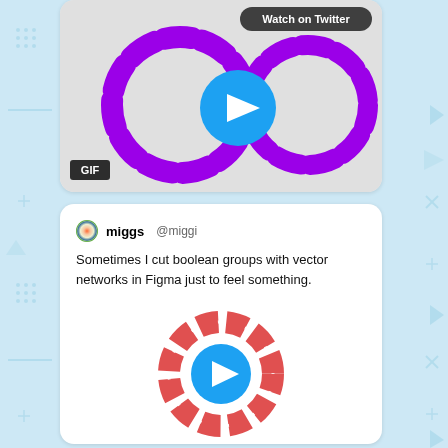[Figure (screenshot): Twitter/social media screenshot showing two tweets. Top tweet contains a GIF with two purple dashed circles and a blue play button, with 'Watch on Twitter' button. Bottom tweet by 'miggs @miggi' reads 'Sometimes I cut boolean groups with vector networks in Figma just to feel something.' with a red segmented ring and blue play button image.]